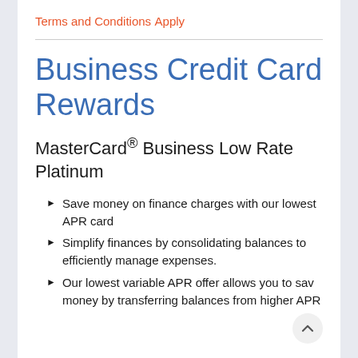Terms and Conditions
Apply
Business Credit Card Rewards
MasterCard® Business Low Rate Platinum
Save money on finance charges with our lowest APR card
Simplify finances by consolidating balances to efficiently manage expenses.
Our lowest variable APR offer allows you to save money by transferring balances from higher APR